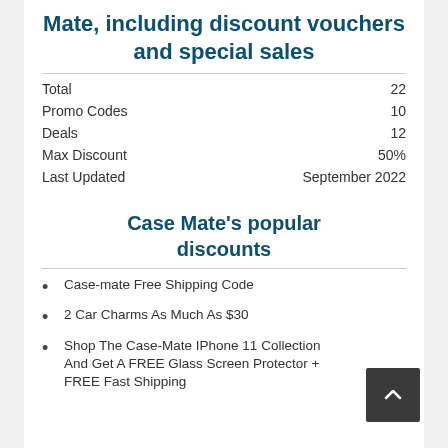Mate, including discount vouchers and special sales
|  |  |
| --- | --- |
| Total | 22 |
| Promo Codes | 10 |
| Deals | 12 |
| Max Discount | 50% |
| Last Updated | September 2022 |
Case Mate's popular discounts
Case-mate Free Shipping Code
2 Car Charms As Much As $30
Shop The Case-Mate IPhone 11 Collection And Get A FREE Glass Screen Protector + FREE Fast Shipping